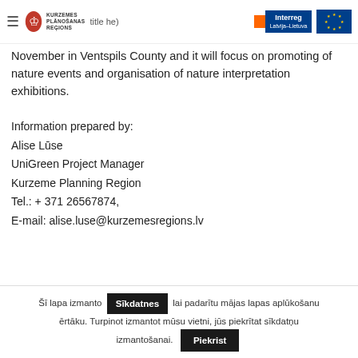Kurzemes Plānošanas Reģions | Interreg Latvija-Lietuva | EU
November in Ventspils County and it will focus on promoting of nature events and organisation of nature interpretation exhibitions.
Information prepared by:
Alise Lūse
UniGreen Project Manager
Kurzeme Planning Region
Tel.: + 371 26567874,
E-mail: alise.luse@kurzemesregions.lv
Šī lapa izmanto Sīkdatnes lai padarītu mājas lapas aplūkošanu ērtāku. Turpinot izmantot mūsu vietni, jūs piekrītat sīkdatņu izmantošanai. Piekrist